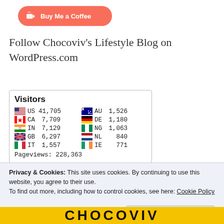[Figure (logo): Buy Me a Coffee button - red pill-shaped button with coffee cup icon and text 'Buy Me a Coffee']
Follow Chocoviv's Lifestyle Blog on WordPress.com
| US | 41,705 | AU | 1,526 |
| CA | 7,709 | DE | 1,180 |
| IN | 7,129 | NG | 1,063 |
| GB | 6,297 | NL | 840 |
| IT | 1,557 | IE | 771 |
| Pageviews: | 228,363 |  |  |
Privacy & Cookies: This site uses cookies. By continuing to use this website, you agree to their use.
To find out more, including how to control cookies, see here: Cookie Policy
[Figure (screenshot): Bottom yellow banner with large bold black text (partial, appears to be a publication or site name)]